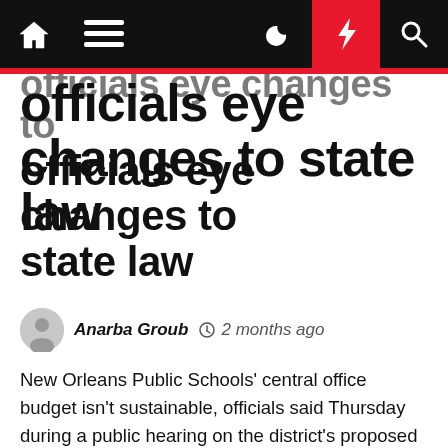Navigation bar with home, menu, dark mode, lightning, and search icons
officials eye changes to state law
Anarba Groub  2 months ago
New Orleans Public Schools' central office budget isn't sustainable, officials said Thursday during a public hearing on the district's proposed general fund and special revenue budgets for the coming school year.
"Fiscal cliff sounds dramatic, but we're definitely standing in the shade of a tree that won't be there in a couple of years," the district's chief financial officer Stuart Gay said.